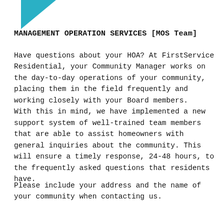[Figure (illustration): Teal/blue right-pointing triangle logo in upper left corner]
MANAGEMENT OPERATION SERVICES [MOS Team]
Have questions about your HOA? At FirstService Residential, your Community Manager works on the day-to-day operations of your community, placing them in the field frequently and working closely with your Board members.
With this in mind, we have implemented a new support system of well-trained team members that are able to assist homeowners with general inquiries about the community. This will ensure a timely response, 24-48 hours, to the frequently asked questions that residents have.
Please include your address and the name of your community when contacting us.